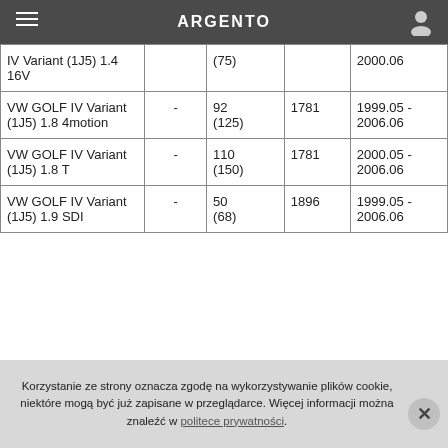ARGENTO
| Model |  | kW (KM) | ccm | Lata |
| --- | --- | --- | --- | --- |
| IV Variant (1J5) 1.4 16V |  | (75) |  | 2000.06 |
| VW GOLF IV Variant (1J5) 1.8 4motion | - | 92 (125) | 1781 | 1999.05 - 2006.06 |
| VW GOLF IV Variant (1J5) 1.8 T | - | 110 (150) | 1781 | 2000.05 - 2006.06 |
| VW GOLF IV Variant (1J5) 1.9 SDI | - | 50 (68) | 1896 | 1999.05 - 2006.06 |
Korzystanie ze strony oznacza zgodę na wykorzystywanie plików cookie, niektóre mogą być już zapisane w przeglądarce. Więcej informacji można znaleźć w politece prywatności.